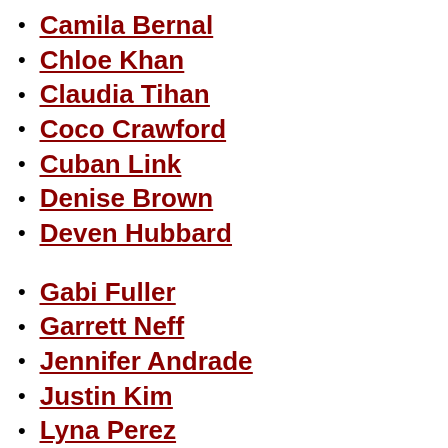Camila Bernal
Chloe Khan
Claudia Tihan
Coco Crawford
Cuban Link
Denise Brown
Deven Hubbard
Gabi Fuller
Garrett Neff
Jennifer Andrade
Justin Kim
Lyna Perez
Matt Harnacke
Miracle Watts